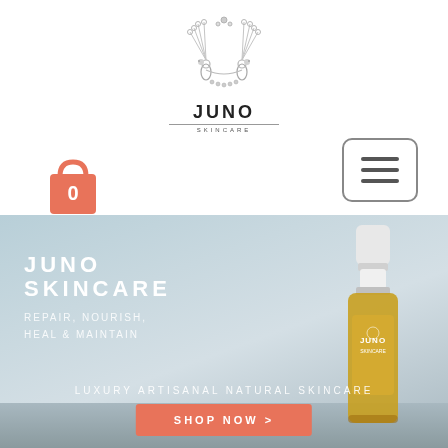[Figure (logo): Juno Skincare logo with two peacock figures forming an arch above the word JUNO in bold capitals and SKINCARE in small caps below, decorative silver/grey style]
[Figure (illustration): Shopping bag icon in coral/salmon color with the number 0 on it, representing a cart with 0 items]
[Figure (illustration): Hamburger menu button: rounded rectangle with three horizontal lines]
[Figure (photo): Hero banner image showing a misty coastal/sea background in muted blue-grey tones with a bottle of Juno skincare oil product on the right side. White text on the left reads JUNO SKINCARE / REPAIR, NOURISH / HEAL & MAINTAIN. Bottom text reads LUXURY ARTISANAL NATURAL SKINCARE. A coral Shop Now button at the bottom.]